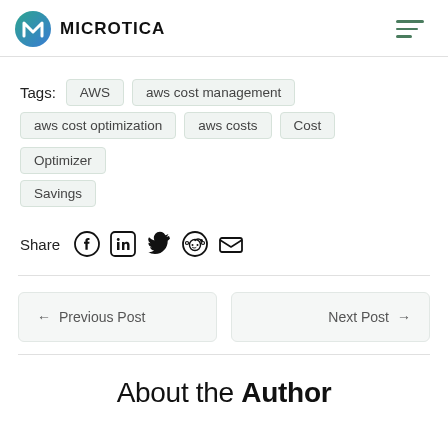MICROTICA
Tags: AWS  aws cost management  aws cost optimization  aws costs  Cost  Optimizer  Savings
Share
← Previous Post
Next Post →
About the Author